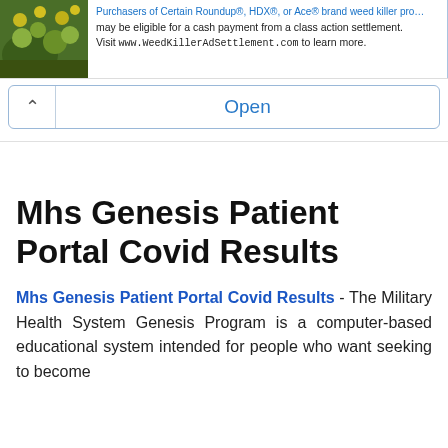[Figure (photo): Advertisement banner with plant/flower image on left and text about Roundup/HDX/Ace weed killer class action settlement on right]
Open
Mhs Genesis Patient Portal Covid Results
Mhs Genesis Patient Portal Covid Results - The Military Health System Genesis Program is a computer-based educational system intended for people who want seeking to become